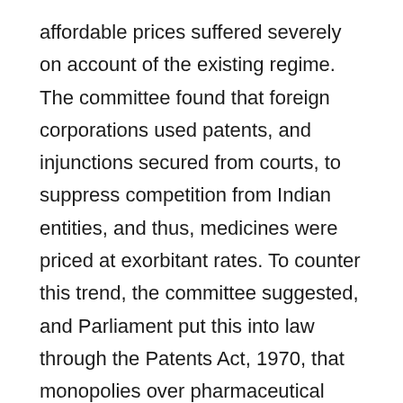affordable prices suffered severely on account of the existing regime. The committee found that foreign corporations used patents, and injunctions secured from courts, to suppress competition from Indian entities, and thus, medicines were priced at exorbitant rates. To counter this trend, the committee suggested, and Parliament put this into law through the Patents Act, 1970, that monopolies over pharmaceutical drugs be altogether removed, with protections offered only over claims to processes.
This change in rule allowed generic manufacturers in India to grow. As a result, life-saving drugs were made available to people at more affordable prices. The ink had